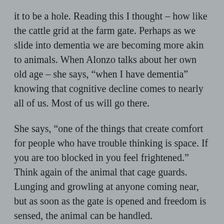it to be a hole. Reading this I thought – how like the cattle grid at the farm gate. Perhaps as we slide into dementia we are becoming more akin to animals. When Alonzo talks about her own old age – she says, "when I have dementia" knowing that cognitive decline comes to nearly all of us. Most of us will go there.
She says, "one of the things that create comfort for people who have trouble thinking is space. If you are too blocked in you feel frightened." Think again of the animal that cage guards. Lunging and growling at anyone coming near, but as soon as the gate is opened and freedom is sensed, the animal can be handled.
When a patient can't seemed to be helped with pain killers and distractions Alonzo says, "we're going to try chocolate." Hershey's Kisses are a mainstay at the nursing home, because "it's hard to feel very bad when